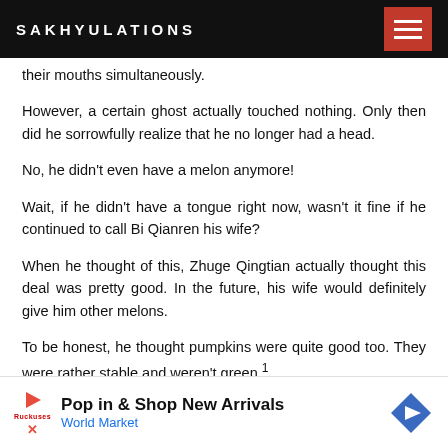SAKHYULATIONS
their mouths simultaneously.
However, a certain ghost actually touched nothing. Only then did he sorrowfully realize that he no longer had a head.
No, he didn't even have a melon anymore!
Wait, if he didn't have a tongue right now, wasn't it fine if he continued to call Bi Qianren his wife?
When he thought of this, Zhuge Qingtian actually thought this deal was pretty good. In the future, his wife would definitely give him other melons.
To be honest, he thought pumpkins were quite good too. They were rather stable and weren't green ¹……
Bi Qianren didn't know what kind of a thought process this
[Figure (screenshot): Advertisement banner: Pop in & Shop New Arrivals - World Market]